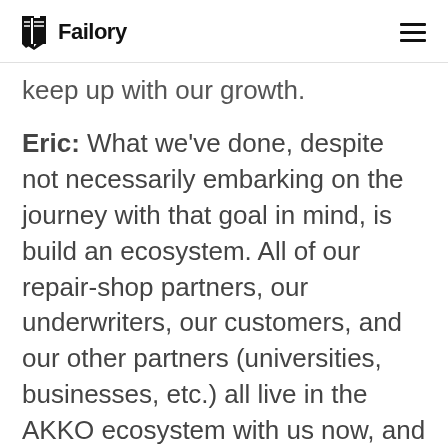Failory
keep up with our growth.
Eric: What we've done, despite not necessarily embarking on the journey with that goal in mind, is build an ecosystem. All of our repair-shop partners, our underwriters, our customers, and our other partners (universities, businesses, etc.) all live in the AKKO ecosystem with us now, and that enables everything we're doing. The product sounds simple on the surface, but that's exactly what the technology and